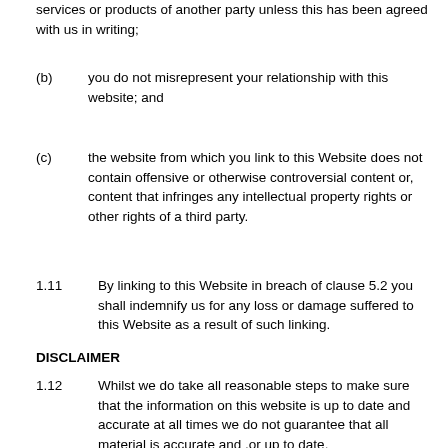services or products of another party unless this has been agreed with us in writing;
(b)   you do not misrepresent your relationship with this website; and
(c)   the website from which you link to this Website does not contain offensive or otherwise  controversial content or, content that infringes any intellectual property rights or other rights of a third party.
1.11   By linking to this Website in breach of clause 5.2 you shall indemnify us for any loss or damage suffered to this Website as a result of such linking.
DISCLAIMER
1.12   Whilst we do take all reasonable steps to make sure that the information on this website is up to date and accurate at all times we do not guarantee that all material is accurate and ,or up to date.